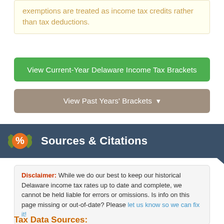exemptions are treated as income tax credits rather than tax deductions.
View Current-Year Delaware Income Tax Brackets
View Past Years' Brackets ▾
Sources & Citations
Disclaimer: While we do our best to keep our historical Delaware income tax rates up to date and complete, we cannot be held liable for errors or omissions. Is info on this page missing or out-of-date? Please let us know so we can fix it!
Tax Data Sources: